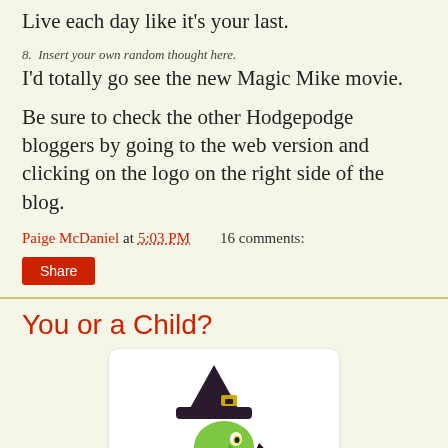Live each day like it's your last.
8.  Insert your own random thought here.
I'd totally go see the new Magic Mike movie.
Be sure to check the other Hodgepodge bloggers by going to the web version and clicking on the logo on the right side of the blog.
Paige McDaniel at 5:03 PM    16 comments:
Share
You or a Child?
[Figure (illustration): Cartoon illustration of a green-faced witch wearing a purple and dark outfit and a tall black hat with a yellow buckle, facing right with an exaggerated hooked nose and wide eye.]